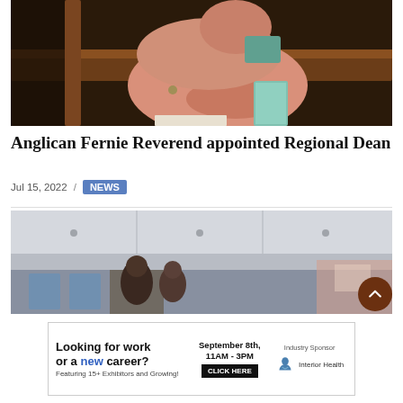[Figure (photo): Person sitting in a wooden church pew, wearing a floral shirt, holding papers, viewed from behind/side.]
Anglican Fernie Reverend appointed Regional Dean
Jul 15, 2022 / NEWS
[Figure (photo): Interior of a small aircraft/plane showing seats and aisle, with people seated.]
[Figure (infographic): Advertisement: Looking for work or a new career? Featuring 15+ Exhibitors and Growing! September 8th, 11AM-3PM CLICK HERE. Industry Sponsor: Interior Health.]